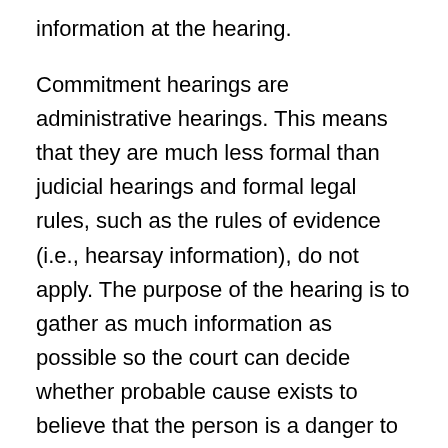information at the hearing.
Commitment hearings are administrative hearings. This means that they are much less formal than judicial hearings and formal legal rules, such as the rules of evidence (i.e., hearsay information), do not apply. The purpose of the hearing is to gather as much information as possible so the court can decide whether probable cause exists to believe that the person is a danger to self, danger to others, or unable to care for self.
The 302 petitioner is expected to be present at the hearing and the judge or